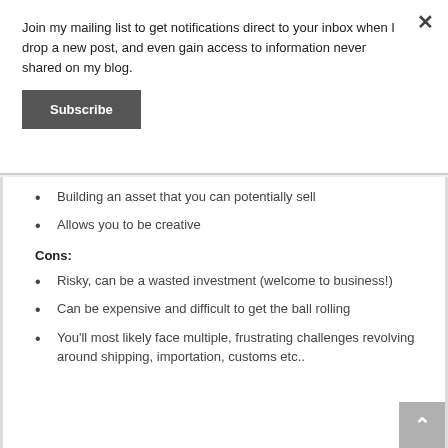Join my mailing list to get notifications direct to your inbox when I drop a new post, and even gain access to information never shared on my blog.
Subscribe
Building an asset that you can potentially sell
Allows you to be creative
Cons:
Risky, can be a wasted investment (welcome to business!)
Can be expensive and difficult to get the ball rolling
You'll most likely face multiple, frustrating challenges revolving around shipping, importation, customs etc..